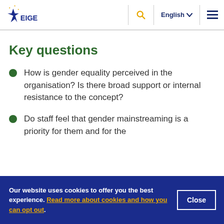EIGE | English
Key questions
How is gender equality perceived in the organisation? Is there broad support or internal resistance to the concept?
Do staff feel that gender mainstreaming is a priority for them and for the
Our website uses cookies to offer you the best experience. Read more about cookies and how you can opt out.